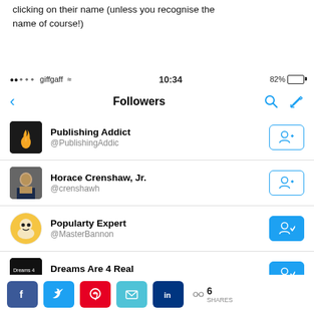clicking on their name (unless you recognise the name of course!)
[Figure (screenshot): Twitter mobile app screenshot showing Followers page with status bar (giffgaff, 10:34, 82%), navigation bar with Followers title, and four follower entries: Publishing Addict @PublishingAddic, Horace Crenshaw Jr. @crenshawh, Popularty Expert @MasterBannon (following), Dreams Are 4 Real @DreamsAre4Real1 (following), with social share buttons at bottom.]